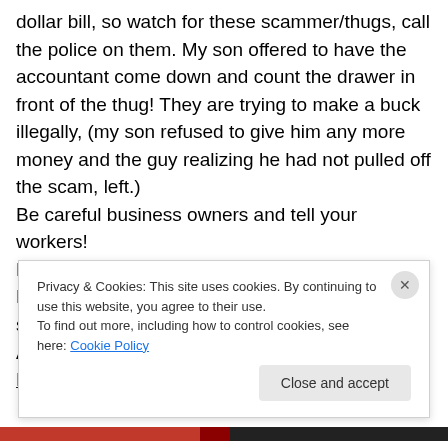dollar bill, so watch for these scammer/thugs, call the police on them. My son offered to have the accountant come down and count the drawer in front of the thug! They are trying to make a buck illegally, (my son refused to give him any more money and the guy realizing he had not pulled off the scam, left.)
Be careful business owners and tell your workers!
Now in retro, on Wednesday I went with Robin Pedrero to hang our show at the University Club, stopping first at the Produce market on Orlando Ave called
Eatmoreproduce.com
Privacy & Cookies: This site uses cookies. By continuing to use this website, you agree to their use.
To find out more, including how to control cookies, see here: Cookie Policy
Close and accept